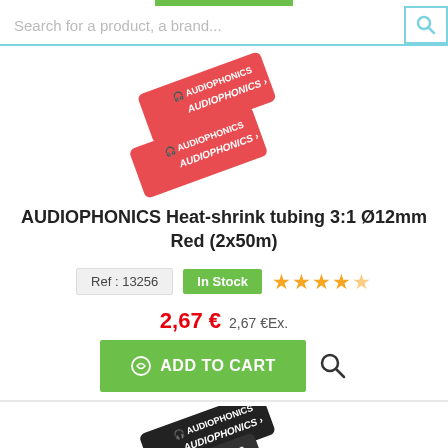[Figure (screenshot): Search bar with placeholder text 'Search for a product, a brand...' and a search icon on the right with light blue border]
[Figure (photo): Two red heat-shrink tubing samples with AUDIOPHONICS branding, displayed at an angle]
AUDIOPHONICS Heat-shrink tubing 3:1 Ø12mm Red (2x50m)
Ref : 13256  In Stock  ★★★★½
2,67 € 2,67 €Ex.
ADD TO CART
[Figure (photo): Black heat-shrink tubing samples with AUDIOPHONICS branding, partially visible at bottom of page]